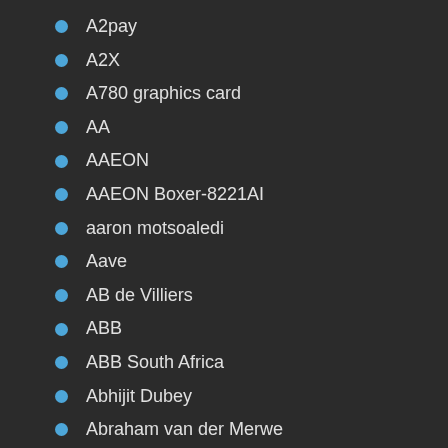A2pay
A2X
A780 graphics card
AA
AAEON
AAEON Boxer-8221AI
aaron motsoaledi
Aave
AB de Villiers
ABB
ABB South Africa
Abhijit Dubey
Abraham van der Merwe
ABSA
Absa Life